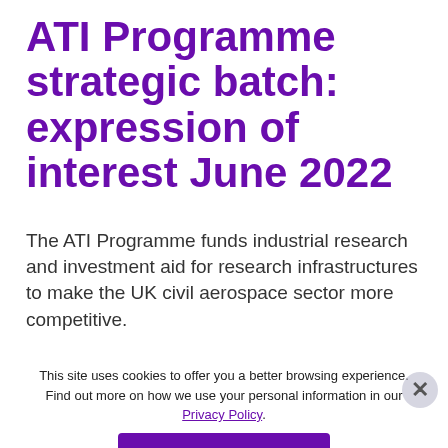ATI Programme strategic batch: expression of interest June 2022
The ATI Programme funds industrial research and investment aid for research infrastructures to make the UK civil aerospace sector more competitive.
This site uses cookies to offer you a better browsing experience. Find out more on how we use your personal information in our Privacy Policy.
Funding Details